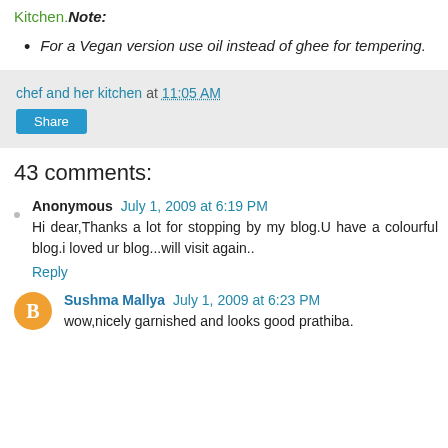Kitchen. Note:
For a Vegan version use oil instead of ghee for tempering.
chef and her kitchen at 11:05 AM
Share
43 comments:
Anonymous  July 1, 2009 at 6:19 PM
Hi dear,Thanks a lot for stopping by my blog.U have a colourful blog.i loved ur blog...will visit again..
Reply
Sushma Mallya  July 1, 2009 at 6:23 PM
wow,nicely garnished and looks good prathiba.